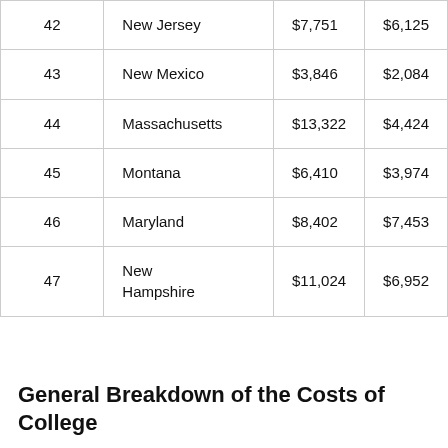| 42 | New Jersey | $7,751 | $6,125 |
| 43 | New Mexico | $3,846 | $2,084 |
| 44 | Massachusetts | $13,322 | $4,424 |
| 45 | Montana | $6,410 | $3,974 |
| 46 | Maryland | $8,402 | $7,453 |
| 47 | New Hampshire | $11,024 | $6,952 |
General Breakdown of the Costs of College